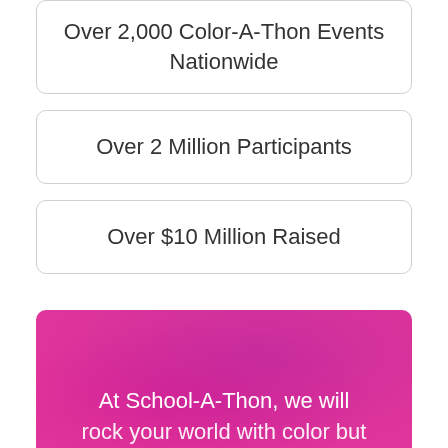Over 2,000 Color-A-Thon Events Nationwide
Over 2 Million Participants
Over $10 Million Raised
At School-A-Thon, we will rock your world with color but